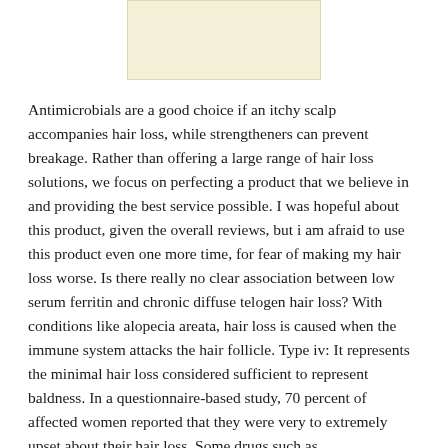[Figure (other): A light cream/beige colored rectangular image placeholder at the top center of the page]
Antimicrobials are a good choice if an itchy scalp accompanies hair loss, while strengtheners can prevent breakage. Rather than offering a large range of hair loss solutions, we focus on perfecting a product that we believe in and providing the best service possible. I was hopeful about this product, given the overall reviews, but i am afraid to use this product even one more time, for fear of making my hair loss worse. Is there really no clear association between low serum ferritin and chronic diffuse telogen hair loss? With conditions like alopecia areata, hair loss is caused when the immune system attacks the hair follicle. Type iv: It represents the minimal hair loss considered sufficient to represent baldness. In a questionnaire-based study, 70 percent of affected women reported that they were very to extremely upset about their hair loss. Some drugs such as chemotherapeutic agents, proandrogenic hormones, or antithyroids may cause diffuse hair loss. The authors of an additional review of clinical studies, which the international journal of women's dermatology published, considered prp to be a promising treatment for hair loss, based on their findings. Patterned hair loss is the most common cause of hair loss seen in both the sexes after puberty, typically presenting with progressive thinning, miniaturization, and loss of hair at the affected